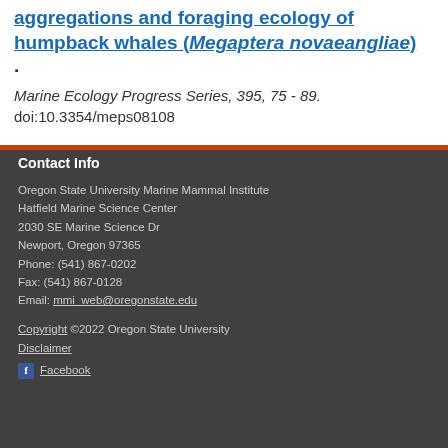aggregations and foraging ecology of humpback whales (Megaptera novaeangliae). Marine Ecology Progress Series, 395, 75 - 89. doi:10.3354/meps08108
Contact Info
Oregon State University Marine Mammal Institute
Hatfield Marine Science Center
2030 SE Marine Science Dr
Newport, Oregon 97365
Phone: (541) 867-0202
Fax: (541) 867-0128
Email: mmi_web@oregonstate.edu
Copyright ©2022 Oregon State University
Disclaimer
Facebook